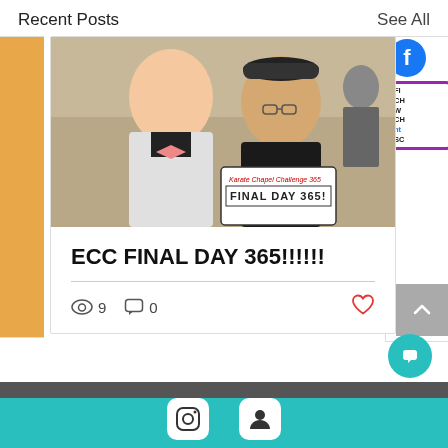Recent Posts
See All
[Figure (photo): Two people posing for a photo indoors, one holding a sign reading 'FINAL DAY 365!' from the Karate Chapel Challenge 365]
ECC FINAL DAY 365!!!!!!
9 views, 0 comments, like button
[Figure (illustration): Pagination dots (3 dots, first active blue), back-to-top button, footer with teal background with social media icons and chat bubble button]